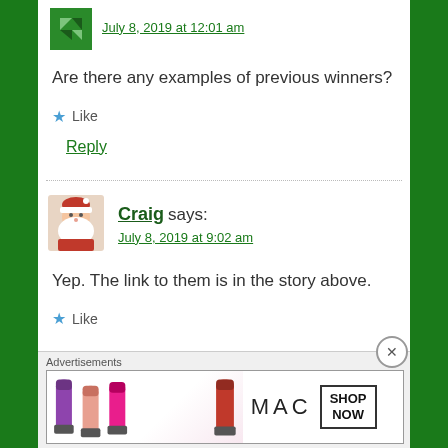[Figure (logo): Green geometric avatar icon with arrows/triangles]
July 8, 2019 at 12:01 am
Are there any examples of previous winners?
Like
Reply
[Figure (photo): Santa Claus avatar photo]
Craig says:
July 8, 2019 at 9:02 am
Yep. The link to them is in the story above.
Like
Advertisements
[Figure (screenshot): MAC cosmetics advertisement banner showing lipsticks and SHOP NOW button]